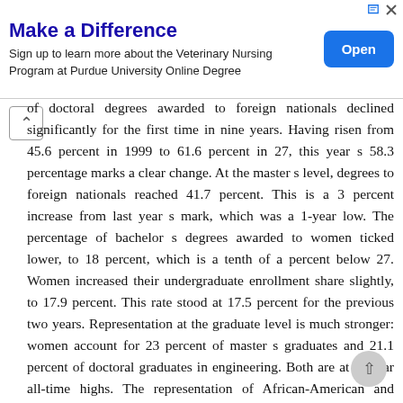[Figure (other): Advertisement banner for Purdue University Veterinary Nursing Program Online Degree with 'Make a Difference' headline and an 'Open' button]
of doctoral degrees awarded to foreign nationals declined significantly for the first time in nine years. Having risen from 45.6 percent in 1999 to 61.6 percent in 27, this year s 58.3 percentage marks a clear change. At the master s level, degrees to foreign nationals reached 41.7 percent. This is a 3 percent increase from last year s mark, which was a 1-year low. The percentage of bachelor s degrees awarded to women ticked lower, to 18 percent, which is a tenth of a percent below 27. Women increased their undergraduate enrollment share slightly, to 17.9 percent. This rate stood at 17.5 percent for the previous two years. Representation at the graduate level is much stronger: women account for 23 percent of master s graduates and 21.1 percent of doctoral graduates in engineering. Both are at or near all-time highs. The representation of African-American and Hispanic students fluctuates from year to year but remains generally low. Combined, these groups accounted for only 11.1 percent